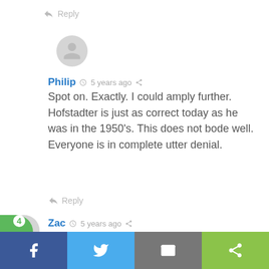Reply
Philip  5 years ago
Spot on. Exactly. I could amply further. Hofstadter is just as correct today as he was in the 1950's. This does not bode well. Everyone is in complete utter denial.
Reply
Zac  5 years ago
So true 🙂
Reply